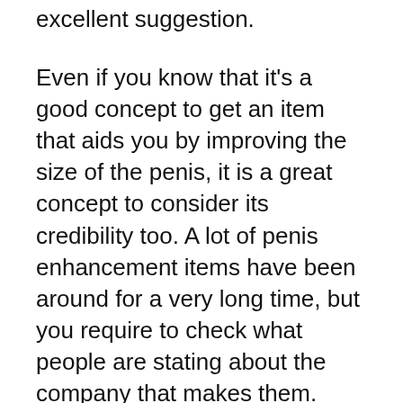excellent suggestion.
Even if you know that it’s a good concept to get an item that aids you by improving the size of the penis, it is a great concept to consider its credibility too. A lot of penis enhancement items have been around for a very long time, but you require to check what people are stating about the company that makes them.
There are a few other points to keep in mind when looking for penis augmentation items. If the system is backed by a doctor or a physician, you can be rather certain that it will certainly work – so you don’t waste your cash on something that just might not work.